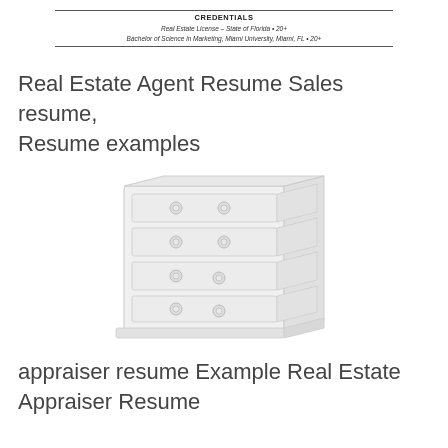CREDENTIALS
Real Estate License – State of Florida • 20+
Bachelor of Science in Marketing, Miami University, Miami, FL • 20+
Real Estate Agent Resume Sales resume, Resume examples
[Figure (illustration): Illustration of a white dresser/chest of drawers with round knob handles, viewed from a slight angle, with four rows of drawers.]
appraiser resume Example Real Estate Appraiser Resume